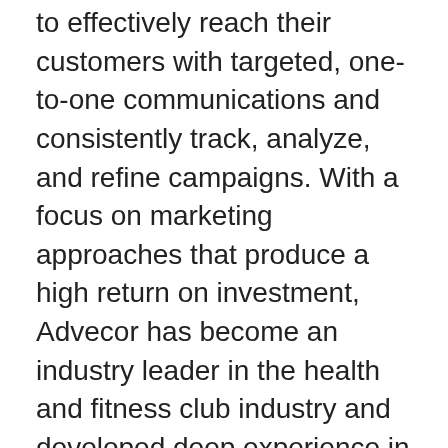to effectively reach their customers with targeted, one-to-one communications and consistently track, analyze, and refine campaigns. With a focus on marketing approaches that produce a high return on investment, Advecor has become an industry leader in the health and fitness club industry and developed deep experience in the real estate financial services market.
Alliance Data (NYSE: ADS) is North America's largest and most comprehensive provider of transaction-based, data-driven marketing and loyalty solutions serving large, consumer-based industries. The Company creates and deploys customized solutions, enhancing the critical customer marketing experience. Alliance Data helps its clients create and increase customer